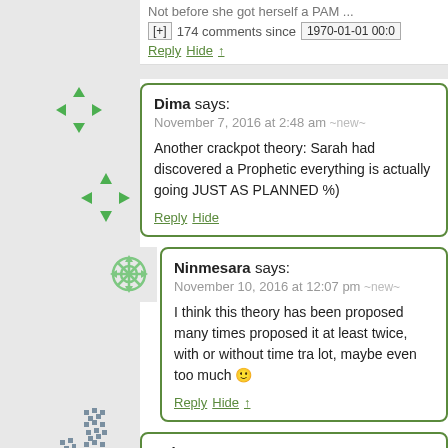Not before she got herself a PAM... [+] 174 comments since 1970-01-01 00:0
Reply Hide ↑
Dima says: November 7, 2016 at 2:48 am ~new~
Another crackpot theory: Sarah had discovered a Prophetic everything is actually going JUST AS PLANNED %)
Reply Hide
Ninmesara says: November 10, 2016 at 12:07 pm ~new~
I think this theory has been proposed many time proposed it at least twice, with or without time tr lot, maybe even too much 🙂
Reply Hide ↑
geist says: